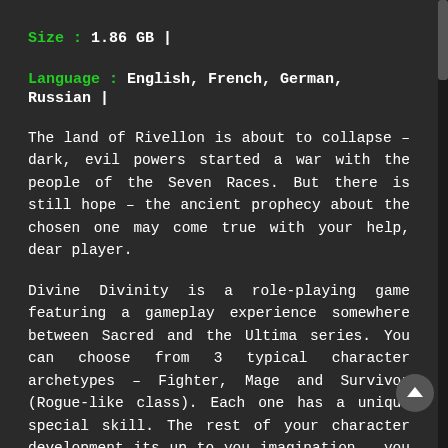Size : 1.86 GB |
Language : English, French, German, Russian |
The land of Rivellon is about to collapse – dark, evil powers started a war with the people of the Seven Races. But there is still hope – the ancient prophecy about the chosen one may come true with your help, dear player.
Divine Divinity is a role-playing game featuring a gameplay experience somewhere between Sacred and the Ultima series. You can choose from 3 typical character archetypes – Fighter, Mage and Survivor (Rogue-like class). Each one has a unique special skill. The rest of your character development its up to you imagination – you can even learn skills from other classes and make a very unique character build.
The game is long, challenging and very addictive. You will encounter many different enemies and a very big...